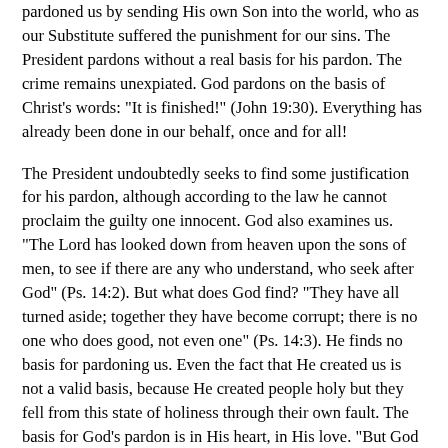pardoned us by sending His own Son into the world, who as our Substitute suffered the punishment for our sins. The President pardons without a real basis for his pardon. The crime remains unexpiated. God pardons on the basis of Christ's words: "It is finished!" (John 19:30). Everything has already been done in our behalf, once and for all!
The President undoubtedly seeks to find some justification for his pardon, although according to the law he cannot proclaim the guilty one innocent. God also examines us. "The Lord has looked down from heaven upon the sons of men, to see if there are any who understand, who seek after God" (Ps. 14:2). But what does God find? "They have all turned aside; together they have become corrupt; there is no one who does good, not even one" (Ps. 14:3). He finds no basis for pardoning us. Even the fact that He created us is not a valid basis, because He created people holy but they fell from this state of holiness through their own fault. The basis for God's pardon is in His heart, in His love. "But God demonstrates His own love toward us, in that while we were yet sinners, Christ died for us" (Rom. 8:5).
In society when a criminal, or someone else in his behalf, pleads for mercy from the President, he cannot be sure of the results.